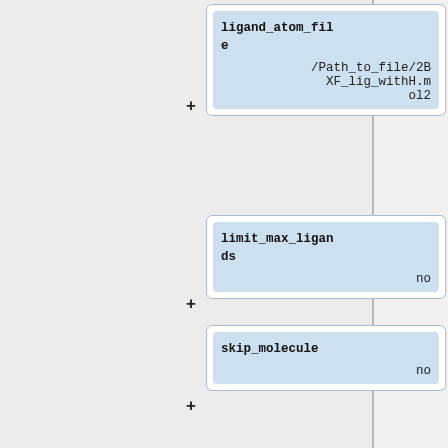[Figure (flowchart): Partial view of a software configuration UI showing expandable parameter cards on the right side. Cards visible include: ligand_atom_file with value /Path_to_file/2BXF_lig_withH.mol2, limit_max_ligands with value no, skip_molecule with value no, read_mol_solvation with value no, and calculate_rmsd (partially visible).]